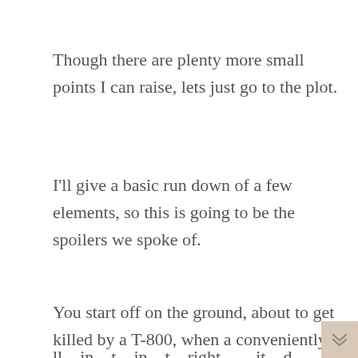Though there are plenty more small points I can raise, lets just go to the plot.
I'll give a basic run down of a few elements, so this is going to be the spoilers we spoke of.
You start off on the ground, about to get killed by a T-800, when a conveniently located radio advises you to roll away as the Terminator gets shot, the voice on the radio knows who you are and guides you to safety.